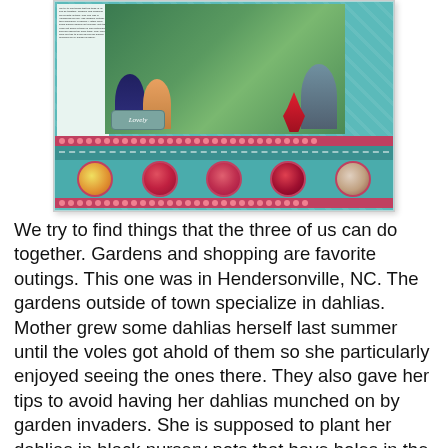[Figure (photo): Scrapbook page featuring three people at a dahlia garden in Hendersonville, NC, with five circular dahlia flower photos at the bottom on a teal background with pink dotted border strips.]
We try to find things that the three of us can do together. Gardens and shopping are favorite outings. This one was in Hendersonville, NC. The gardens outside of town specialize in dahlias. Mother grew some dahlias herself last summer until the voles got ahold of them so she particularly enjoyed seeing the ones there. They also gave her tips to avoid having her dahlias munched on by garden invaders. She is supposed to plant her dahlias in black nursery pots that have holes in the bottom and put the entire thing in the ground. The roots will grow out through the holes but the voles can't get to the main roots of the plant that way.